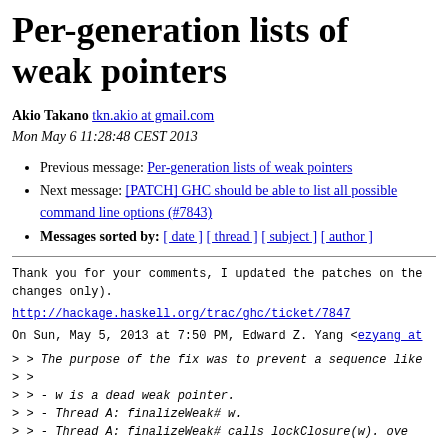Per-generation lists of weak pointers
Akio Takano tkn.akio at gmail.com
Mon May 6 11:28:48 CEST 2013
Previous message: Per-generation lists of weak pointers
Next message: [PATCH] GHC should be able to list all possible command line options (#7843)
Messages sorted by: [ date ] [ thread ] [ subject ] [ author ]
Thank you for your comments, I updated the patches on the
changes only).
http://hackage.haskell.org/trac/ghc/ticket/7847
On Sun, May 5, 2013 at 7:50 PM, Edward Z. Yang <ezyang at
> > The purpose of the fix was to prevent a sequence like
> >
> > - w is a dead weak pointer.
> > - Thread A: finalizeWeak# w.
> > - Thread A: finalizeWeak# calls lockClosure(w). ove